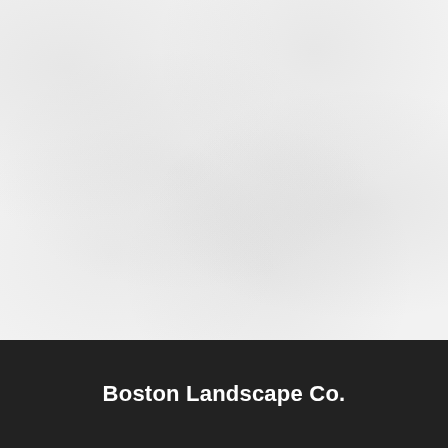[Figure (photo): Light grey/white textured background area resembling a blank or faded landscape photo]
Boston Landscape Co.